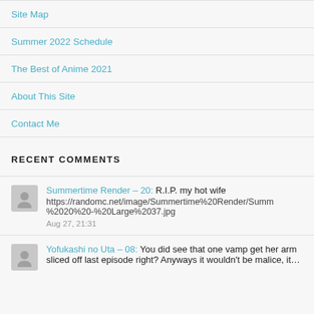Site Map
Summer 2022 Schedule
The Best of Anime 2021
About This Site
Contact Me
RECENT COMMENTS
Summertime Render – 20: R.I.P. my hot wife https://randomc.net/image/Summertime%20Render/Summ%2020%20-%20Large%2037.jpg Aug 27, 21:31
Yofukashi no Uta – 08: You did see that one vamp get her arm sliced off last episode right? Anyways it wouldn't be malice, it…